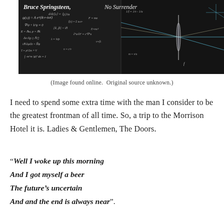[Figure (photo): Black chalkboard with white chalk equations and physics/math formulas written across it, split into two panels. The left panel shows dense mathematical equations and the right panel shows optical ray diagram lines converging through a lens.]
(Image found online.  Original source unknown.)
I need to spend some extra time with the man I consider to be the greatest frontman of all time. So, a trip to the Morrison Hotel it is. Ladies & Gentlemen, The Doors.
“Well I woke up this morning
And I got myself a beer
The future’s uncertain
And and the end is always near”.